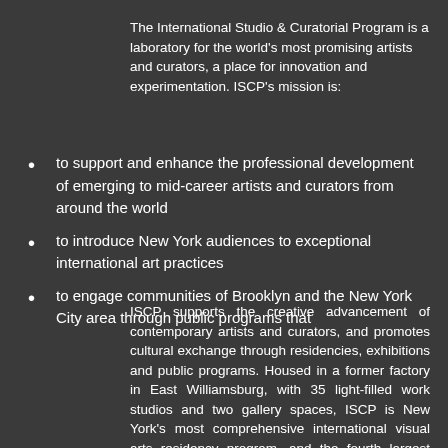The International Studio & Curatorial Program is a laboratory for the world's most promising artists and curators, a place for innovation and experimentation. ISCP's mission is:
to support and enhance the professional development of emerging to mid-career artists and curators from around the world
to introduce New York audiences to exceptional international art practices
to engage communities of Brooklyn and the New York City area through public programs that
ISCP supports the creative advancement of contemporary artists and curators, and promotes cultural exchange through residencies, exhibitions and public programs. Housed in a former factory in East Williamsburg, with 35 light-filled work studios and two gallery spaces, ISCP is New York's most comprehensive international visual arts residency program, and the fourth largest worldwide. In addition, ISCP organizes